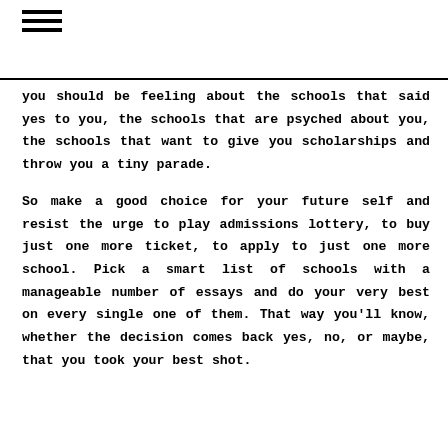≡
you should be feeling about the schools that said yes to you, the schools that are psyched about you, the schools that want to give you scholarships and throw you a tiny parade.
So make a good choice for your future self and resist the urge to play admissions lottery, to buy just one more ticket, to apply to just one more school. Pick a smart list of schools with a manageable number of essays and do your very best on every single one of them. That way you'll know, whether the decision comes back yes, no, or maybe, that you took your best shot.